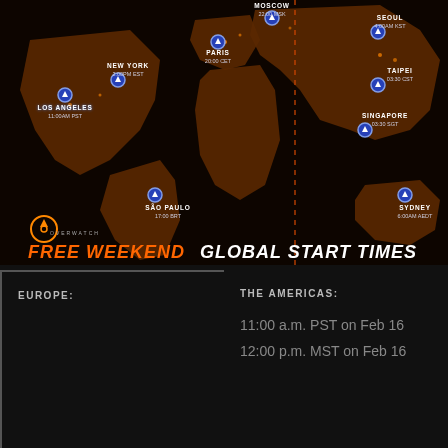[Figure (map): World map with night lights showing city locations and Overwatch Free Weekend Global Start Times. Cities marked: Los Angeles (11:00AM PST), New York (2:00PM EST), São Paulo (12:00 BRT), Paris (20:00 CET), Moscow (22:00 MSK), Seoul (4:00AM KST), Taipei (03:30 CST), Singapore (03:30 SGT), Sydney (6:00AM AEDT). Overwatch logo in bottom left.]
EUROPE:
THE AMERICAS:
11:00 a.m. PST on Feb 16
12:00 p.m. MST on Feb 16